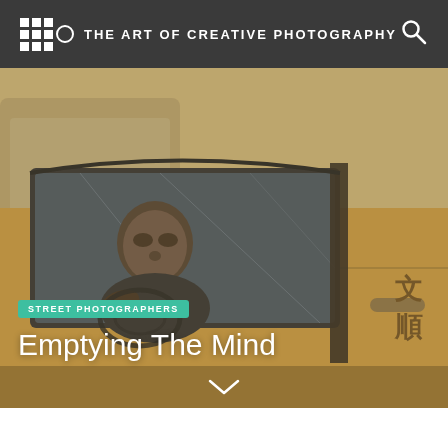THE ART OF CREATIVE PHOTOGRAPHY
[Figure (photo): Street photography scene showing a person sitting in the driver's seat of a yellow taxi cab, viewed through the car window. Chinese characters are visible on the car door. The image has a muted, hazy tone.]
STREET PHOTOGRAPHERS
Emptying The Mind